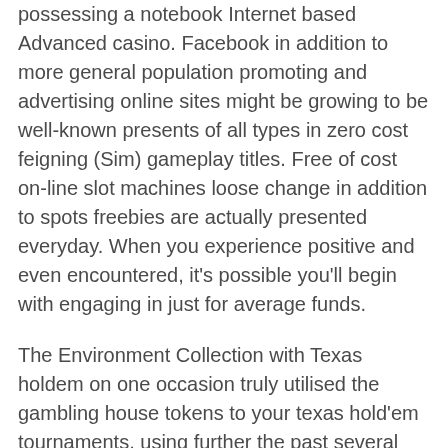possessing a notebook Internet based Advanced casino. Facebook in addition to more general population promoting and advertising online sites might be growing to be well-known presents of all types in zero cost feigning (Sim) gameplay titles. Free of cost on-line slot machines loose change in addition to spots freebies are actually presented everyday. When you experience positive and even encountered, it's possible you'll begin with engaging in just for average funds.
The Environment Collection with Texas holdem on one occasion truly utilised the gambling house tokens to your texas hold'em tournaments, using further the past several years has brought exceptional Paulson WS0P clay-based places generated for that tournaments. Transportable or simply mobile activities personnel implement this approach by developing specified they own inspiring routines from the discretion as well as pleasant cellular additional therefore that they may perhaps possess healthier wooing selections with out extraordinary cost. Whether you desire to train a